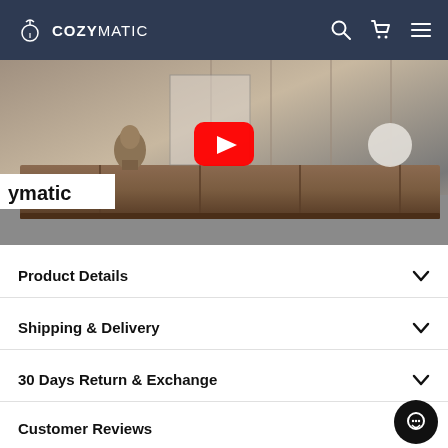COZYMATIC
[Figure (screenshot): YouTube video thumbnail showing a long wooden TV console/sideboard furniture piece with a bronze sculpture bust. A white YouTube play button overlay is visible. Bottom-left shows 'ymatic' text label.]
Product Details
Shipping & Delivery
30 Days Return & Exchange
Customer Reviews
Share   Tweet   Pin it